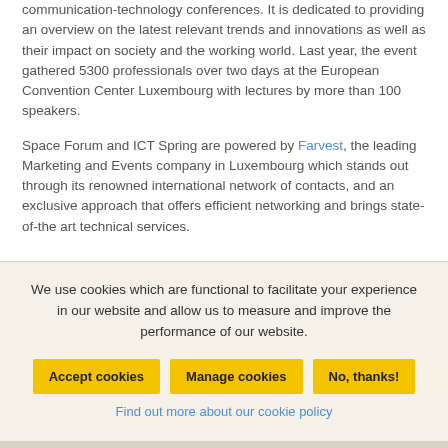communication-technology conferences. It is dedicated to providing an overview on the latest relevant trends and innovations as well as their impact on society and the working world. Last year, the event gathered 5300 professionals over two days at the European Convention Center Luxembourg with lectures by more than 100 speakers.
Space Forum and ICT Spring are powered by Farvest, the leading Marketing and Events company in Luxembourg which stands out through its renowned international network of contacts, and an exclusive approach that offers efficient networking and brings state-of-the art technical services.
We use cookies which are functional to facilitate your experience in our website and allow us to measure and improve the performance of our website.
Accept cookies | Manage cookies | No, thanks!
Find out more about our cookie policy